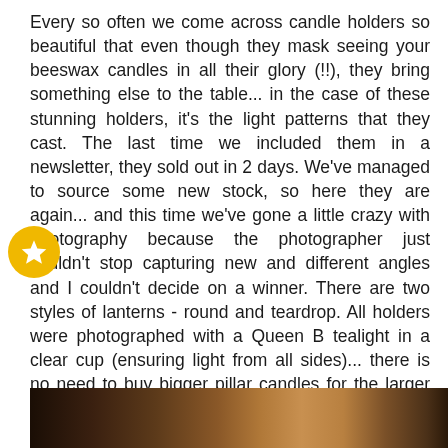Every so often we come across candle holders so beautiful that even though they mask seeing your beeswax candles in all their glory (!!), they bring something else to the table... in the case of these stunning holders, it's the light patterns that they cast. The last time we included them in a newsletter, they sold out in 2 days. We've managed to source some new stock, so here they are again... and this time we've gone a little crazy with photography because the photographer just couldn't stop capturing new and different angles and I couldn't decide on a winner. There are two styles of lanterns - round and teardrop. All holders were photographed with a Queen B tealight in a clear cup (ensuring light from all sides)... there is no need to buy bigger pillar candles for the larger holders. Hanging Teardrop Lanterns
[Figure (photo): Dark photograph of lanterns/candle holders, partially visible at bottom of page]